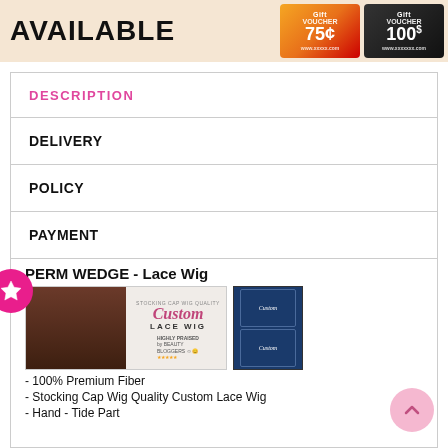[Figure (illustration): Banner with AVAILABLE text and gift voucher cards showing 75 and 100 denominations on peach/cream background]
DESCRIPTION
DELIVERY
POLICY
PAYMENT
PERM WEDGE - Lace Wig
[Figure (photo): Product photo showing Custom Lace Wig advertisement with woman with curly hair and product packaging]
- 100% Premium Fiber
- Stocking Cap Wig Quality Custom Lace Wig
- Hand - Tide Part